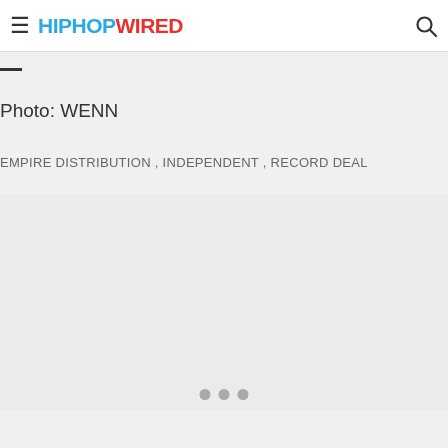HIPHOPWIRED
Photo: WENN
EMPIRE DISTRIBUTION , INDEPENDENT , RECORD DEAL
[Figure (other): Loading content area placeholder, gray background with three dots at bottom]